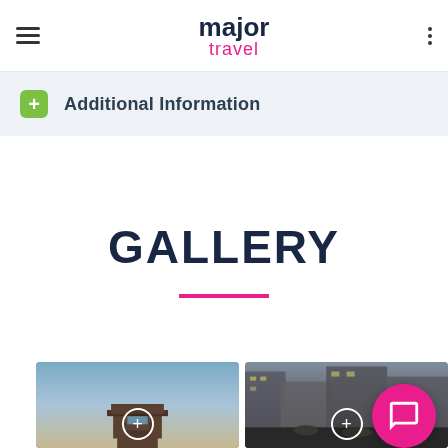major travel
Additional Information
GALLERY
[Figure (photo): Gallery section showing two travel photos: India Gate monument on the left and a busy street scene in India on the right, each with a circular plus overlay button.]